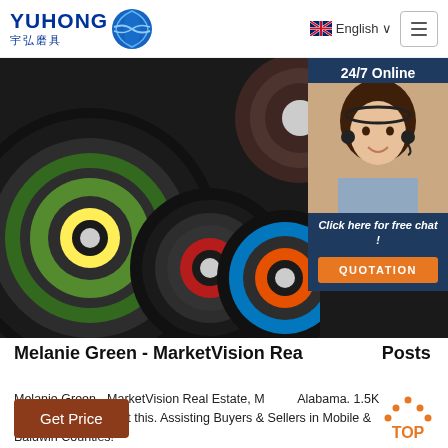[Figure (logo): Yuhong 宇弘磨具 logo with blue wave/globe icon and company name in blue]
[Figure (photo): Photo of multiple grinding/cutting discs with colorful labels (green, red/orange, blue) on dark background. Also shows customer service woman with headset beside 24/7 Online panel.]
Melanie Green - MarketVision Real Estate · Posts
Melanie Green - MarketVision Real Estate, Mobile, Alabama. 1.5K likes · 3 talking about this. Assisting Buyers & Sellers in Mobile & Baldwin Counties!
[Figure (other): Get Price button (brown/red background, white text)]
[Figure (other): TOP navigation button (orange with arrows icon)]